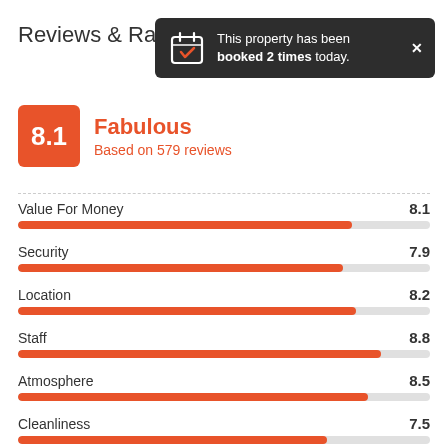Reviews & Ratings
[Figure (infographic): Dark tooltip popup: 'This property has been booked 2 times today.' with calendar icon and X close button]
8.1 Fabulous
Based on 579 reviews
[Figure (bar-chart): Category Ratings]